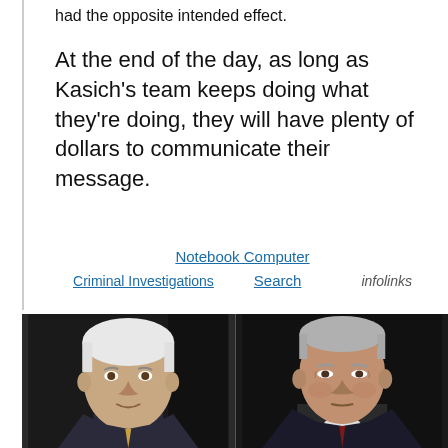had the opposite intended effect.
At the end of the day, as long as Kasich's team keeps doing what they're doing, they will have plenty of dollars to communicate their message.
Notebook Computer  Criminal Investigations  Search  infolinks
[Figure (photo): Side-by-side photos of two older men with white/grey hair against dark backgrounds. Left photo shows a man in a dark suit, right photo shows a man in a dark suit with a tie.]